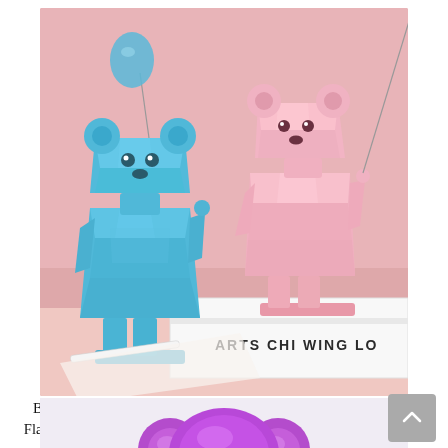[Figure (photo): Two geometric faceted bear figurines — one blue (left) and one pink (right) — holding balloon strings on a pink background. The pink bear stands on a white book labeled 'ARTS CHI WING LO'. The blue bear holds a balloon string going off-frame. Both are kawaii-style resin decorative statues.]
Balloon Bear Figurines Home Decor Animal Statue Kawaii Resin Flatback Decorations For Living Room Decoration Crafts Lazada Ph
[Figure (photo): Partial view of a shiny metallic purple/chrome Mickey Mouse-style bear figurine head at the bottom of the page.]